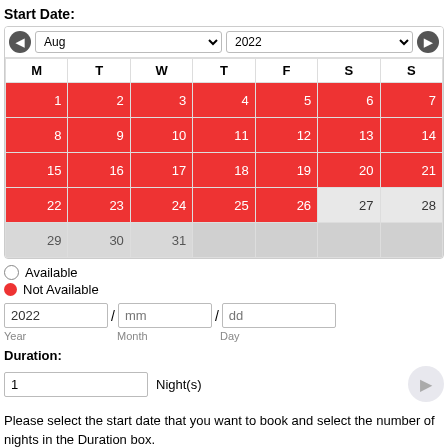Start Date:
[Figure (other): Calendar widget showing August 2022 with navigation arrows and month/year dropdowns. Days 1-26 highlighted in red (not available). Days 27-28 in light gray (available). Days 29-31 in last row gray.]
Available
Not Available
2022 / mm / dd (Year / Month / Day date input fields)
Duration:
1 Night(s)
Please select the start date that you want to book and select the number of nights in the Duration box.